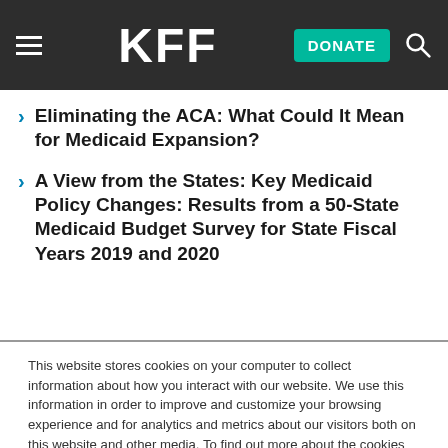KFF | DONATE
Eliminating the ACA: What Could It Mean for Medicaid Expansion?
A View from the States: Key Medicaid Policy Changes: Results from a 50-State Medicaid Budget Survey for State Fiscal Years 2019 and 2020
This website stores cookies on your computer to collect information about how you interact with our website. We use this information in order to improve and customize your browsing experience and for analytics and metrics about our visitors both on this website and other media. To find out more about the cookies we use, see our Privacy Policy.
Accept